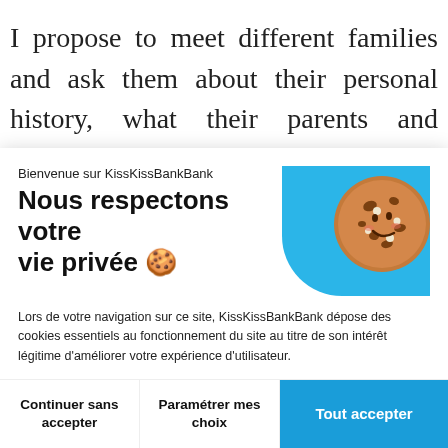I propose to meet different families and ask them about their personal history, what their parents and relatives used to tell them about the
Bienvenue sur KissKissBankBank
Nous respectons votre vie privée 🍪
Lors de votre navigation sur ce site, KissKissBankBank dépose des cookies essentiels au fonctionnement du site au titre de son intérêt légitime d'améliorer votre expérience d'utilisateur.
Vous pouvez également consentir au dépôt de certains cookies permettant à KissKissBankBank et ses partenaires d'accéder à certaines de vos données personnelles afin de réaliser des mesures d'audience vous proposer un contenu personnalisé et
Continuer sans accepter
Paramétrer mes choix
Tout accepter